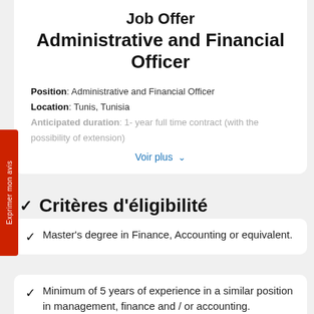Job Offer
Administrative and Financial Officer
Position: Administrative and Financial Officer
Location: Tunis, Tunisia
Anticipated duration: 1- year full time contract (with the possibility of extension)
Voir plus
Critères d'éligibilité
Master's degree in Finance, Accounting or equivalent.
Minimum of 5 years of experience in a similar position in management, finance and / or accounting.